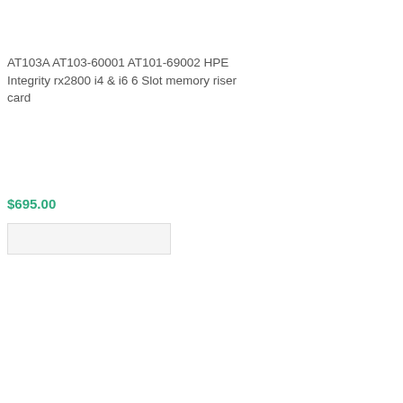[Figure (photo): Small white product image placeholder for AT103A memory riser card]
AT103A AT103-60001 AT101-69002 HPE Integrity rx2800 i4 & i6 6 Slot memory riser card
$695.00
[Figure (photo): Add to cart button placeholder]
OpenVMS NEW
$299.00
[Figure (photo): Add to cart button placeholder for OpenVMS NEW]
[Figure (photo): Small white product image placeholder for AT101A server]
AT101A HP Integrity rx2800 i4 Server with 1 9540 8 Core CPU
$10,100.00
[Figure (photo): Add to cart button placeholder for AT101A]
[Figure (photo): Small white product image placeholder for AH395A server]
AH395A HP Integrity rx2800 i2 Server with 1 x 9340 Quad Core CPU
$5,795.00
[Figure (photo): Add to cart button placeholder for AH395A]
[Figure (photo): Small white product image placeholder at bottom]